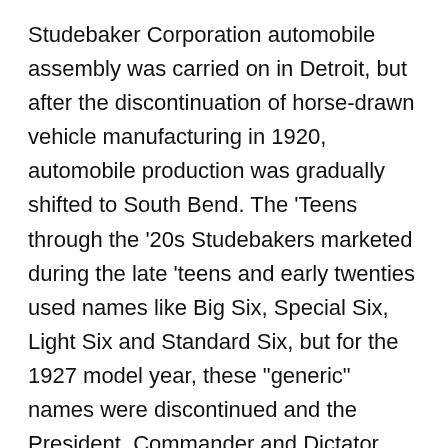Studebaker Corporation automobile assembly was carried on in Detroit, but after the discontinuation of horse-drawn vehicle manufacturing in 1920, automobile production was gradually shifted to South Bend. The 'Teens through the '20s Studebakers marketed during the late 'teens and early twenties used names like Big Six, Special Six, Light Six and Standard Six, but for the 1927 model year, these "generic" names were discontinued and the President, Commander and Dictator model names were introduced. Also introduced in 1927 was a new quality small car called the Erskine. In 1928 Studebaker purchased Pierce-Arrow, a Buffalo, New York company that produced luxury automobiles. The Great Depression Underestimating the impact of the Great Depression, Studebaker's president, Albert Erskine, inadvertently led the corporation into receivership in 1933. Paul Hoffman and Harold Vance